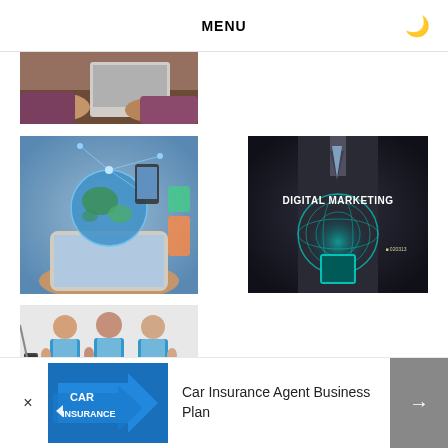MENU
[Figure (photo): Partial view of hands on a laptop/desk, top-cropped image]
[Figure (photo): Hands holding a glowing digital globe with network connections above a tablet]
[Figure (photo): Business man in suit holding glowing digital sphere with text DIGITAL MARKETING]
[Figure (photo): Three people in blue aprons smiling, giving thumbs up — cleaning or service team]
[Figure (photo): Blue arrow signs reading CAR INSURANCE]
Car Insurance Agent Business Plan